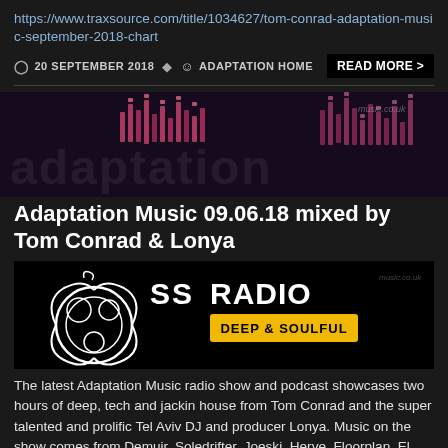https://www.traxsource.com/title/1034627/tom-conrad-adaptation-music-september-2018-chart
20 SEPTEMBER 2018  ADAPTATION HOME  READ MORE >
[Figure (illustration): Dark banner with pink/magenta pixel equalizer bars graphic on a dark purple/black background]
Adaptation Music 09.06.18 mixed by Tom Conrad & Lonya
[Figure (logo): SS Radio Deep & Soulful logo - black background with ornate swirl design and yellow badge reading DEEP & SOULFUL]
The latest Adaptation Music radio show and podcast showcases two hours of deep, tech and jackin house from Tom Conrad and the super talented and prolific Tel Aviv DJ and producer Lonya. Music on the show comes from Demuir, Soledrifter, Joeski, Herve, Floorplan, El Funkador and many more.
Listen to and/or download the show via the link below: